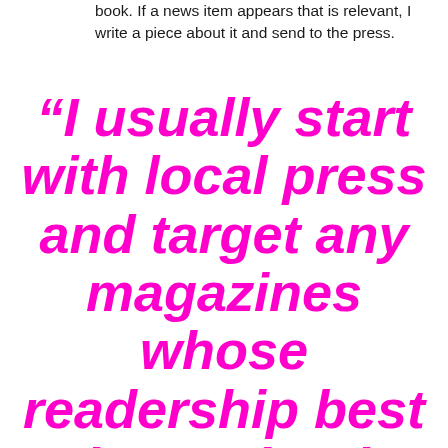book. If a news item appears that is relevant, I write a piece about it and send to the press.
“I usually start with local press and target any magazines whose readership best suits my book.”